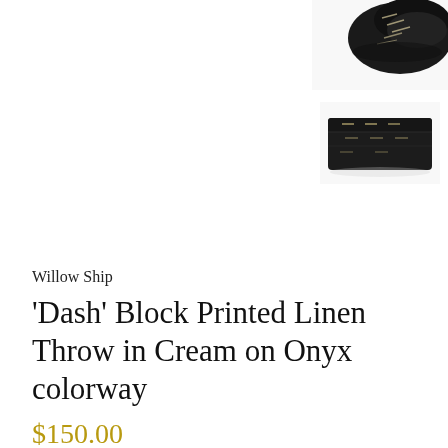[Figure (photo): Dark folded linen throw blanket, top thumbnail image, viewed from above — black/dark fabric with cream printed dash pattern]
[Figure (photo): Dark folded linen throw blanket, second thumbnail image, stacked flat fold — black fabric with cream printed dash pattern]
Willow Ship
'Dash' Block Printed Linen Throw in Cream on Onyx colorway
$150.00